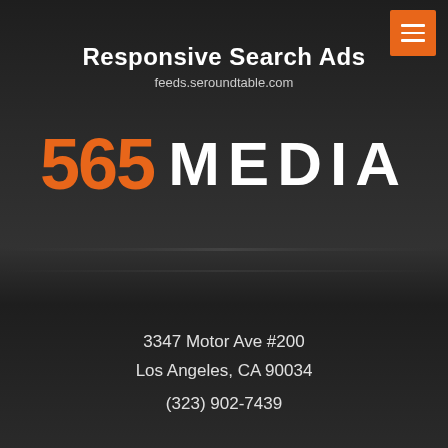Responsive Search Ads
feeds.seroundtable.com
[Figure (logo): 565 Media company logo with '565' in orange and 'MEDIA' in white bold letters on dark background]
3347 Motor Ave #200
Los Angeles, CA 90034
(323) 902-7439